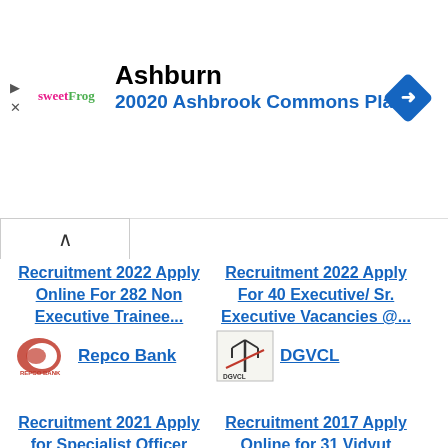[Figure (screenshot): Advertisement banner showing sweetFrog logo with 'Ashburn' heading and '20020 Ashbrook Commons Pla...' subtitle in blue, with a blue navigation diamond icon on the right. Play and close icons on the left.]
^ (collapse button)
Recruitment 2022 Apply Online For 282 Non Executive Trainee
Recruitment 2022 Apply For 40 Executive/ Sr. Executive Vacancies @
Repco Bank
DGVCL
Recruitment 2021 Apply for Specialist Officer
Recruitment 2017 Apply Online for 31 Vidyut Sahayak